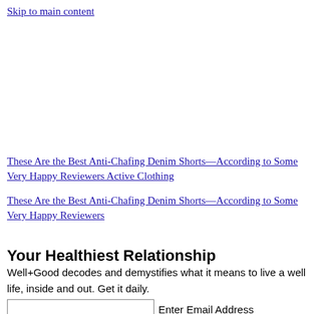Skip to main content
These Are the Best Anti-Chafing Denim Shorts—According to Some Very Happy Reviewers Active Clothing
These Are the Best Anti-Chafing Denim Shorts—According to Some Very Happy Reviewers
Your Healthiest Relationship
Well+Good decodes and demystifies what it means to live a well life, inside and out. Get it daily.
Enter Email Address
Sign Up